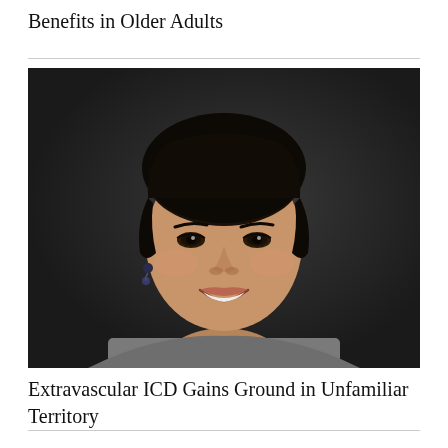Benefits in Older Adults
[Figure (photo): Headshot portrait of a smiling Asian woman with dark hair pulled back, wearing dangling earrings and a grey top, photographed against a dark background.]
Extravascular ICD Gains Ground in Unfamiliar Territory